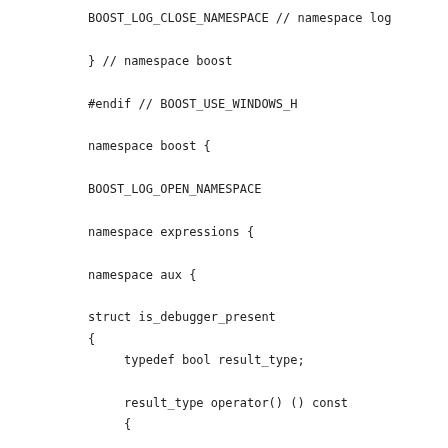BOOST_LOG_CLOSE_NAMESPACE // namespace log

} // namespace boost

#endif // BOOST_USE_WINDOWS_H

namespace boost {

BOOST_LOG_OPEN_NAMESPACE

namespace expressions {

namespace aux {

struct is_debugger_present
{
    typedef bool result_type;

    result_type operator() () const
    {
        return IsDebuggerPresent() != 0;
    }
};

} // namespace aux

#ifndef BOOST_LOG_DOXYGEN_PASS

BOOST_PHOENIX_ADAPT_CALLABLE_NULLARY(is_debugger_present, a

#else

/*!
 * The function generates a filter that will check whether t
 */
unspecified is_debugger_present();